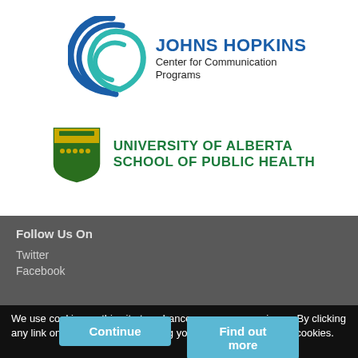[Figure (logo): Johns Hopkins Center for Communication Programs logo — blue/teal swirl icon with JOHNS HOPKINS in blue bold and Center for Communication Programs in dark text]
[Figure (logo): University of Alberta School of Public Health logo — shield crest icon with green text UNIVERSITY OF ALBERTA / SCHOOL OF PUBLIC HEALTH]
Follow Us On
Twitter
Facebook
We use cookies on this site to enhance your user experience. By clicking any link on this page you are giving your consent for us to set cookies.
Continue
Find out more